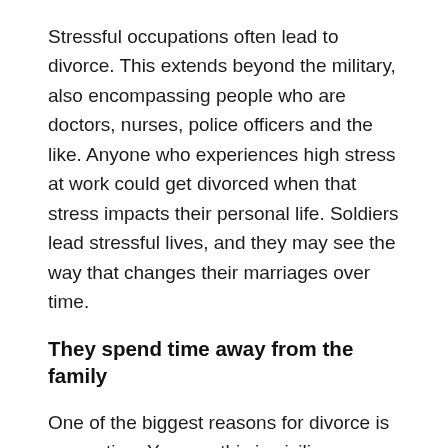Stressful occupations often lead to divorce. This extends beyond the military, also encompassing people who are doctors, nurses, police officers and the like. Anyone who experiences high stress at work could get divorced when that stress impacts their personal life. Soldiers lead stressful lives, and they may see the way that changes their marriages over time.
They spend time away from the family
One of the biggest reasons for divorce is separation. You see this in civilian occupations where workers have to take on night shifts or work long hours — like doctors working 24-hour shifts and working on holidays. When couples don't spend enough time together, they drift apart. This can happen to military couples when